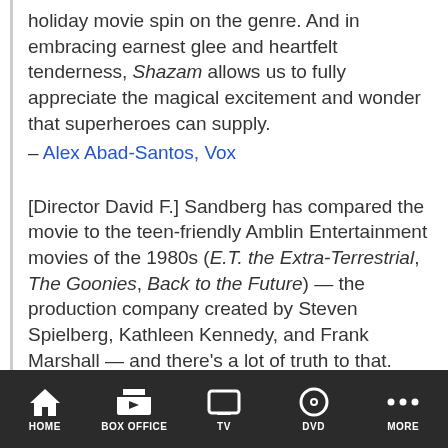holiday movie spin on the genre. And in embracing earnest glee and heartfelt tenderness, Shazam allows us to fully appreciate the magical excitement and wonder that superheroes can supply.
– Alex Abad-Santos, Vox
[Director David F.] Sandberg has compared the movie to the teen-friendly Amblin Entertainment movies of the 1980s (E.T. the Extra-Terrestrial, The Goonies, Back to the Future) — the production company created by Steven Spielberg, Kathleen Kennedy, and Frank Marshall — and there's a lot of truth to that.
– Jason Guerrasion, Business Insider
OK, so it's basically Big with superheroes and villains instead of businesspeople and girlfriends, but
HOME  BOX OFFICE  TV  DVD  MORE